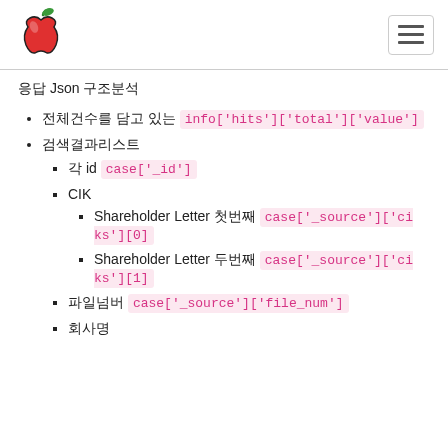Apple logo and hamburger menu
응답 Json 구조분석
전체건수를 담고 있는 info['hits']['total']['value']
검색결과리스트
각 id case['_id']
CIK
Shareholder Letter 첫번째 case['_source']['ciks'][0]
Shareholder Letter 두번째 case['_source']['ciks'][1]
파일넘버 case['_source']['file_num']
회사명